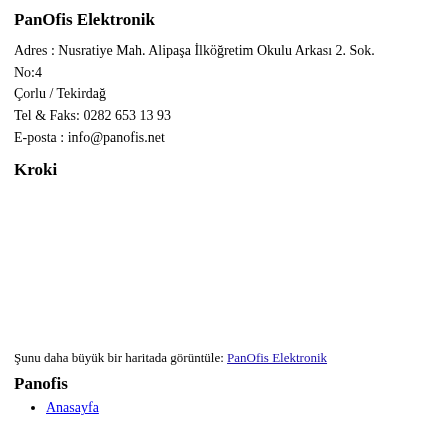PanOfis Elektronik
Adres : Nusratiye Mah. Alipaşa İlköğretim Okulu Arkası 2. Sok. No:4
Çorlu / Tekirdağ
Tel & Faks: 0282 653 13 93
E-posta : info@panofis.net
Kroki
[Figure (map): Map placeholder area for PanOfis Elektronik location]
Şunu daha büyük bir haritada görüntüle: PanOfis Elektronik
Panofis
Anasayfa